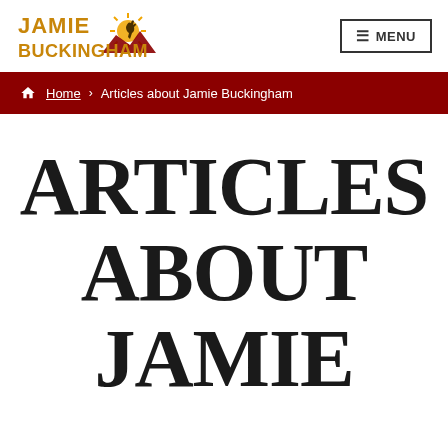Jamie Buckingham [logo] | MENU
Home > Articles about Jamie Buckingham
ARTICLES ABOUT JAMIE